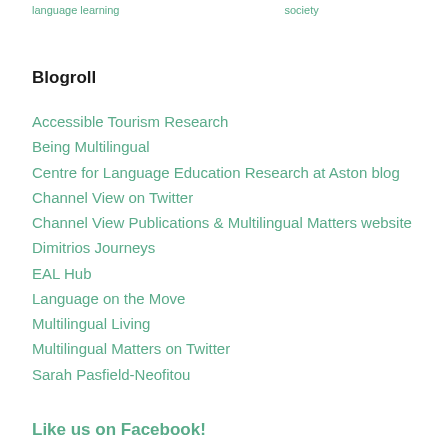...language learning... ...society...
Blogroll
Accessible Tourism Research
Being Multilingual
Centre for Language Education Research at Aston blog
Channel View on Twitter
Channel View Publications & Multilingual Matters website
Dimitrios Journeys
EAL Hub
Language on the Move
Multilingual Living
Multilingual Matters on Twitter
Sarah Pasfield-Neofitou
Like us on Facebook!